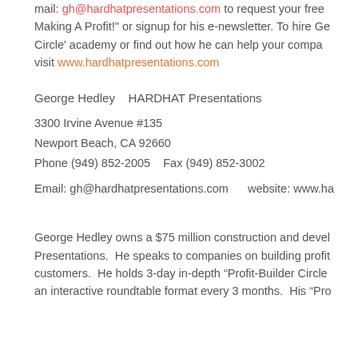mail: gh@hardhatpresentations.com to request your free Making A Profit! or signup for his e-newsletter. To hire Ge Circle' academy or find out how he can help your compa visit www.hardhatpresentations.com
George Hedley   HARDHAT Presentations
3300 Irvine Avenue #135
Newport Beach, CA 92660
Phone (949) 852-2005   Fax (949) 852-3002
Email: gh@hardhatpresentations.com     website: www.ha
George Hedley owns a $75 million construction and devel Presentations.  He speaks to companies on building profit customers.  He holds 3-day in-depth “Profit-Builder Circle an interactive roundtable format every 3 months.  His “Pro